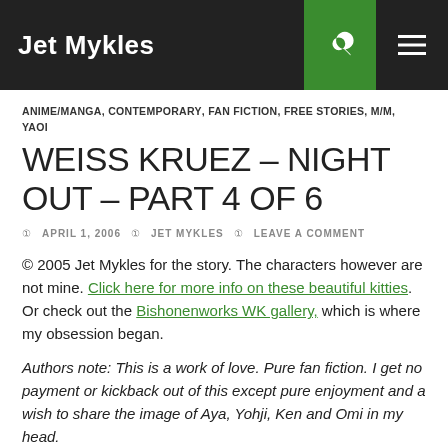Jet Mykles
ANIME/MANGA, CONTEMPORARY, FAN FICTION, FREE STORIES, M/M, YAOI
WEISS KRUEZ – NIGHT OUT – PART 4 OF 6
APRIL 1, 2006  JET MYKLES  LEAVE A COMMENT
© 2005 Jet Mykles for the story. The characters however are not mine. Click here for more info on these beautiful kitties. Or check out the Bishonenworks WK gallery, which is where my obsession began.
Authors note: This is a work of love. Pure fan fiction. I get no payment or kickback out of this except pure enjoyment and a wish to share the image of Aya, Yohji, Ken and Omi in my head.